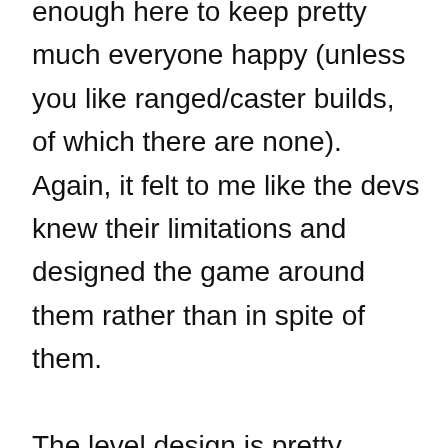experimentation of AAAARR. So, there's enough here to keep pretty much everyone happy (unless you like ranged/caster builds, of which there are none). Again, it felt to me like the devs knew their limitations and designed the game around them rather than in spite of them.

The level design is pretty decent, with three separate biomes connected via the main hubworld. Each biome contains the upgrade items required for improving a specific